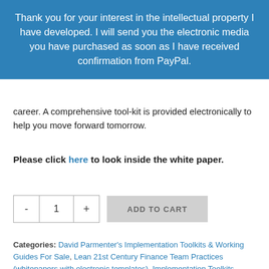Thank you for your interest in the intellectual property I have developed. I will send you the electronic media you have purchased as soon as I have received confirmation from PayPal.
career. A comprehensive tool-kit is provided electronically to help you move forward tomorrow.
Please click here to look inside the white paper.
[Figure (other): Quantity selector with minus button, 1, plus button, and Add to Cart button]
Categories: David Parmenter's Implementation Toolkits & Working Guides For Sale, Lean 21st Century Finance Team Practices (whitepapers with electronic templates), Implementation Toolkits (whitepapers and electronic templates), Lean 21st Century Finance Team Practices (whitepapers and electronic templates)